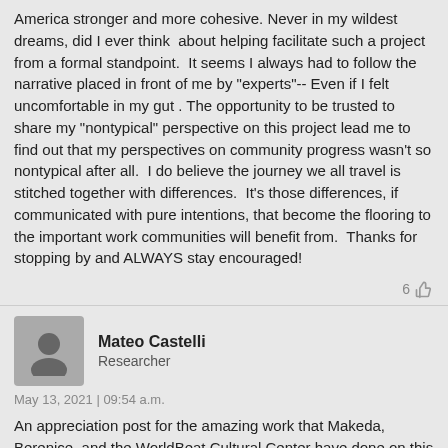America stronger and more cohesive. Never in my wildest dreams, did I ever think about helping facilitate such a project from a formal standpoint. It seems I always had to follow the narrative placed in front of me by "experts"-- Even if I felt uncomfortable in my gut . The opportunity to be trusted to share my "nontypical" perspective on this project lead me to find out that my perspectives on community progress wasn't so nontypical after all. I do believe the journey we all travel is stitched together with differences. It's those differences, if communicated with pure intentions, that become the flooring to the important work communities will benefit from. Thanks for stopping by and ALWAYS stay encouraged!
6
Mateo Castelli
Researcher
May 13, 2021 | 09:54 a.m.
An appreciation post for the amazing work that Makeda, Berenice, and the WorldBeat Cultural Center have done on this video! As a member of the project, I feel proud of the way that this video represents our collaboration and work. It really shows the creativity,